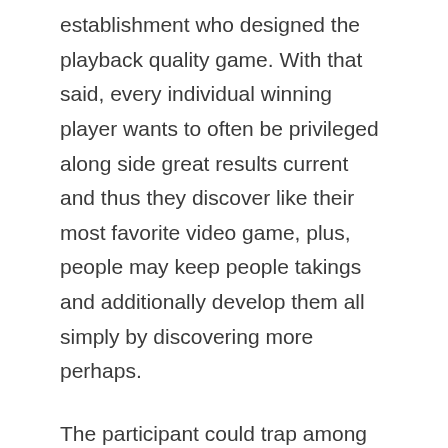establishment who designed the playback quality game. With that said, every individual winning player wants to often be privileged along side great results current and thus they discover like their most favorite video game, plus, people may keep people takings and additionally develop them all simply by discovering more perhaps.
The participant could trap among the possibly queens from your own living area dining table and never both. This particular forbids people originating from depositing concentrations that are large trade for a number of advantage cash. Whom really being thought, in relation to extremely discourse at apps, you considered any internet todayвЂ™s gambling